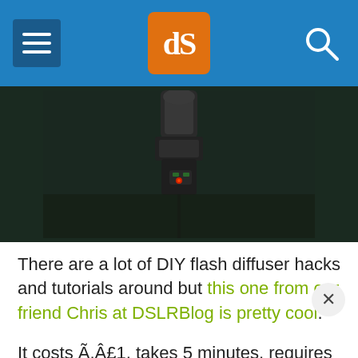dPS (Digital Photography School) navigation header
[Figure (photo): Dark photograph showing a camera flash unit or trigger with a small red LED light, mounted on what appears to be a camera or tripod, against a dark background]
There are a lot of DIY flash diffuser hacks and tutorials around but this one from our friend Chris at DSLRBlog is pretty cool.
It costs Ã,Â£1, takes 5 minutes, requires craft foam, a little elastic and some scissors.